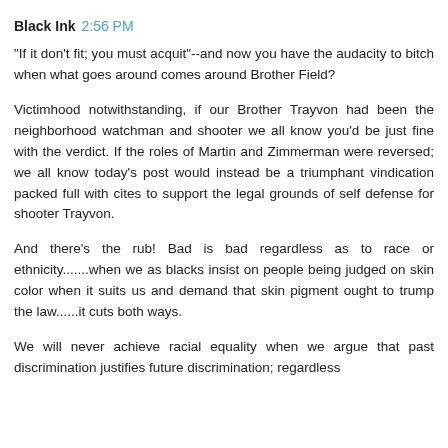Black Ink  2:56 PM
"If it don't fit; you must acquit"--and now you have the audacity to bitch when what goes around comes around Brother Field?
Victimhood notwithstanding, if our Brother Trayvon had been the neighborhood watchman and shooter we all know you'd be just fine with the verdict. If the roles of Martin and Zimmerman were reversed; we all know today's post would instead be a triumphant vindication packed full with cites to support the legal grounds of self defense for shooter Trayvon.
And there's the rub! Bad is bad regardless as to race or ethnicity.......when we as blacks insist on people being judged on skin color when it suits us and demand that skin pigment ought to trump the law......it cuts both ways.
We will never achieve racial equality when we argue that past discrimination justifies future discrimination; regardless